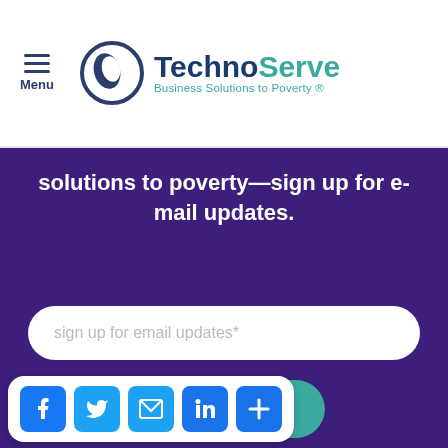Menu | TechnoServe Business Solutions to Poverty ®
solutions to poverty—sign up for e-mail updates.
sign up for email updates*
Submit
protected by reCAPTCHA
Privacy · Terms
[Figure (logo): Social media share bar with Facebook, Twitter, Email, LinkedIn, and Plus icons]